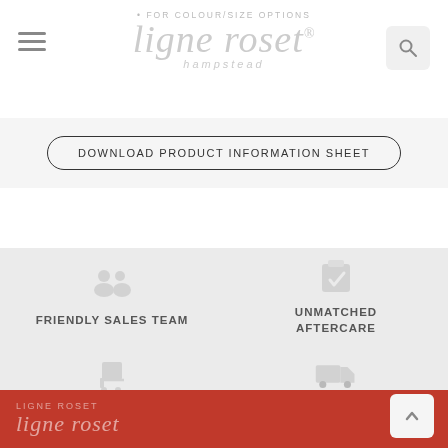ligne roset® hampstead — FOR COLOUR/SIZE OPTIONS
DOWNLOAD PRODUCT INFORMATION SHEET
[Figure (infographic): Four feature icons with labels: FRIENDLY SALES TEAM (people icon), UNMATCHED AFTERCARE (clipboard/check icon), NATIONWIDE DELIVERY (cart icon), QUICKSHIP (truck icon)]
ligne roset hampstead